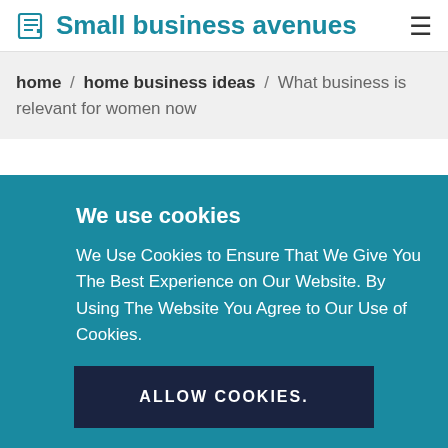Small business avenues
home / home business ideas / What business is relevant for women now
We use cookies
We Use Cookies to Ensure That We Give You The Best Experience on Our Website. By Using The Website You Agree to Our Use of Cookies.
ALLOW COOKIES.